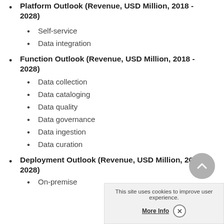Platform Outlook (Revenue, USD Million, 2018 - 2028)
Self-service
Data integration
Function Outlook (Revenue, USD Million, 2018 - 2028)
Data collection
Data cataloging
Data quality
Data governance
Data ingestion
Data curation
Deployment Outlook (Revenue, USD Million, 2018 - 2028)
On-premise